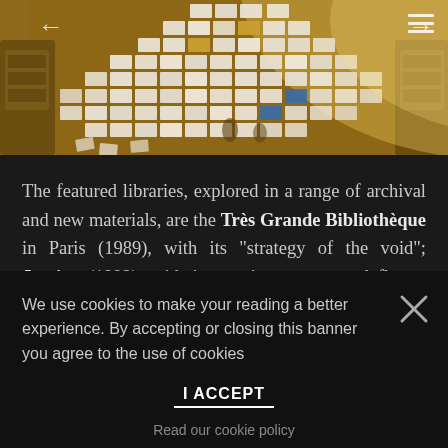[Figure (photo): Aerial or overhead view of a large installation or model showing many rectangular tiles/cards arranged in a mosaic-like pattern, with warm brown/amber tones, resembling library cards or an architectural model of a library]
The featured libraries, explored in a range of archival and new materials, are the Très Grande Bibliothèque in Paris (1989), with its "strategy of the void"; Jussieu (1992), with its continuous, ramped floors; and the
We use cookies to make your reading a better experience. By accepting or closing this banner you agree to the use of cookies
I ACCEPT
Read our cookie policy